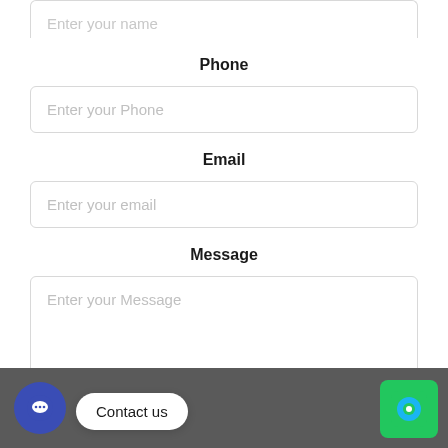Enter your name
Phone
Enter your Phone
Email
Enter your email
Message
Enter your Message
Contact us